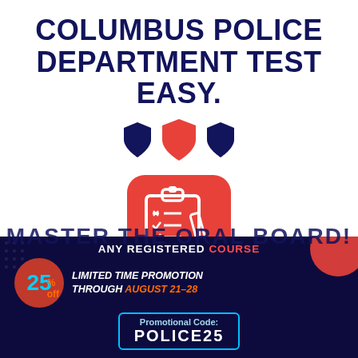COLUMBUS POLICE DEPARTMENT TEST EASY.
[Figure (illustration): Three shield icons: dark navy shield on left, red shield in center, dark navy shield on right]
[Figure (illustration): Red rounded square icon containing a white clipboard with checklist and pen]
ANY REGISTERED COURSE
25% off LIMITED TIME PROMOTION THROUGH AUGUST 21-28
Promotional Code: POLICE25